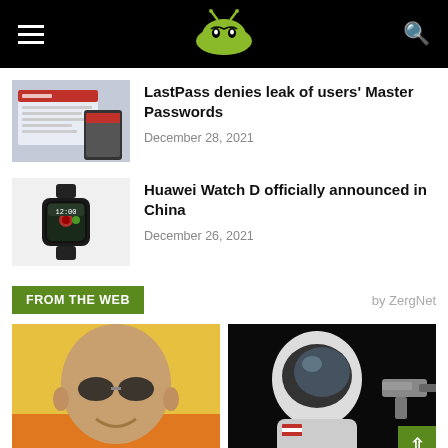AndroidAuthority (logo)
LastPass denies leak of users' Master Passwords
December 28, 2021
Huawei Watch D officially announced in China
December 26, 2021
FROM THE WEB
by ZergNet
[Figure (photo): Man with sunglasses smiling, yellow/orange background]
[Figure (photo): Astronaut in spacesuit holding a gun against black background]